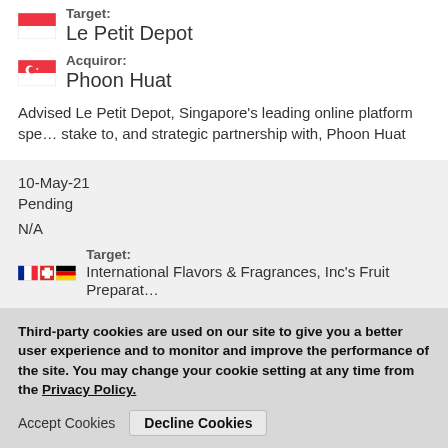Target:
Le Petit Depot
Acquiror:
Phoon Huat
Advised Le Petit Depot, Singapore's leading online platform spe… stake to, and strategic partnership with, Phoon Huat
10-May-21
Pending
N/A
Target:
International Flavors & Fragrances, Inc's Fruit Preparat…
Acquiror:
Frulact Serviços Partilhados, SA
Third-party cookies are used on our site to give you a better user experience and to monitor and improve the performance of the site.  You may change your cookie setting at any time from the Privacy Policy.
Accept Cookies
Decline Cookies